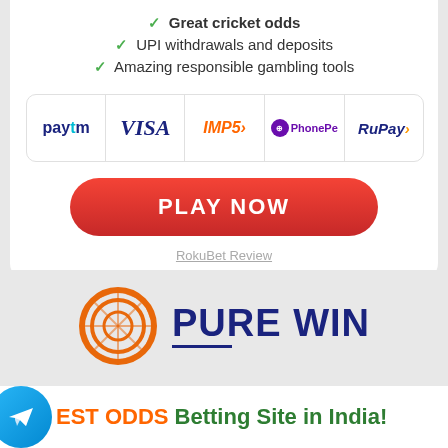✓ Great cricket odds
✓ UPI withdrawals and deposits
✓ Amazing responsible gambling tools
[Figure (logo): Payment logos: Paytm, VISA, IMPS, PhonePe, RuPay]
PLAY NOW
RokuBet Review
[Figure (logo): Pure Win logo with orange diamond gem and PURE WIN text in dark navy]
EST ODDS Betting Site in India!